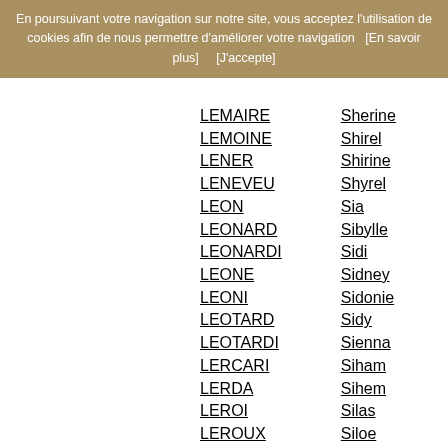En poursuivant votre navigation sur notre site, vous acceptez l'utilisation de cookies afin de nous permettre d'améliorer votre navigation   [En savoir plus]       [J'accepte]
LEMAIRE
LEMOINE
LENER
LENEVEU
LEON
LEONARD
LEONARDI
LEONE
LEONI
LEOTARD
LEOTARDI
LERCARI
LERDA
LEROI
LEROUX
LEROY
LESTRAL
LEVAMIS
LEVEQUE
LEVESI
LEVET
LEVIONNOIS
Sherine
Shirel
Shirine
Shyrel
Sia
Sibylle
Sidi
Sidney
Sidonie
Sidy
Sienna
Siham
Sihem
Silas
Siloe
Simeon
Simon
Simone
Simonne
Sinan
Sira
Sirine